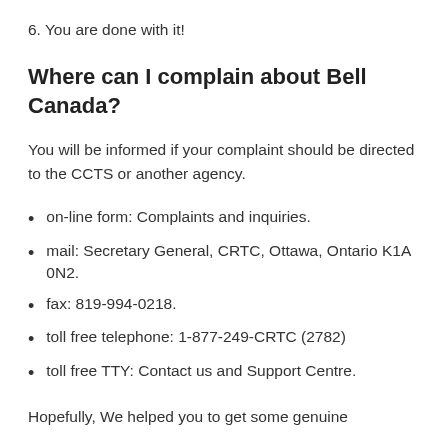6. You are done with it!
Where can I complain about Bell Canada?
You will be informed if your complaint should be directed to the CCTS or another agency.
on-line form: Complaints and inquiries.
mail: Secretary General, CRTC, Ottawa, Ontario K1A 0N2.
fax: 819-994-0218.
toll free telephone: 1-877-249-CRTC (2782)
toll free TTY: Contact us and Support Centre.
Hopefully, We helped you to get some genuine